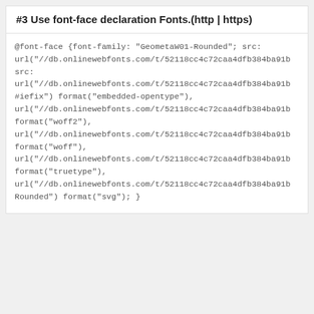#3 Use font-face declaration Fonts.(http | https)
@font-face {font-family: "GeometaW01-Rounded"; src: url("//db.onlinewebfonts.com/t/52118cc4c72caa4dfb384ba91b
src:
url("//db.onlinewebfonts.com/t/52118cc4c72caa4dfb384ba91b
#iefix") format("embedded-opentype"),
url("//db.onlinewebfonts.com/t/52118cc4c72caa4dfb384ba91b
format("woff2"),
url("//db.onlinewebfonts.com/t/52118cc4c72caa4dfb384ba91b
format("woff"),
url("//db.onlinewebfonts.com/t/52118cc4c72caa4dfb384ba91b
format("truetype"),
url("//db.onlinewebfonts.com/t/52118cc4c72caa4dfb384ba91b
Rounded") format("svg"); }
DOWNLOAD FORMAT